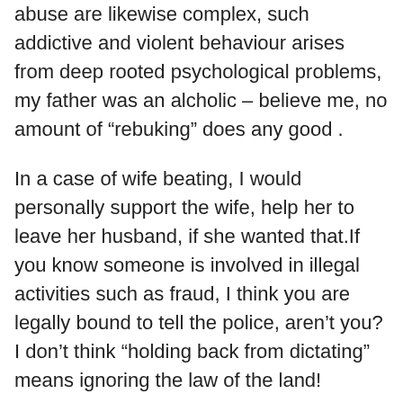abuse are likewise complex, such addictive and violent behaviour arises from deep rooted psychological problems, my father was an alcholic – believe me, no amount of “rebuking” does any good .
In a case of wife beating, I would personally support the wife, help her to leave her husband, if she wanted that.If you know someone is involved in illegal activities such as fraud, I think you are legally bound to tell the police, aren’t you? I don’t think “holding back from dictating” means ignoring the law of the land!
You write of someone for whom the Church says “I cannot have this sexual relationship but how else will I find companionship?” A close friend of mine